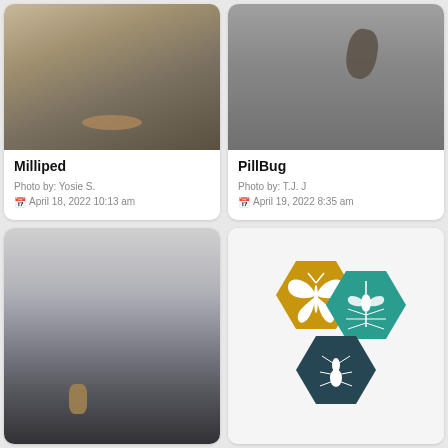[Figure (photo): Close-up photo of a milliped on a curved surface (petri dish or bowl), brownish worm-like creature visible]
Milliped
Photo by: Yosie S.
April 18, 2022 10:13 am
[Figure (photo): Close-up photo of a pill bug (isopod) on a wet gray surface with water droplets]
PillBug
Photo by: T.J. J
April 19, 2022 8:35 am
[Figure (photo): Close-up photo of small bugs/insects in a clear liquid inside a round metal bowl or dish, small tan/brown larva visible at bottom]
[Figure (logo): Insect identification app logo with three interlocking hexagons in gold, teal, and blue colors, each containing a white insect silhouette: butterfly, mosquito, and another insect]